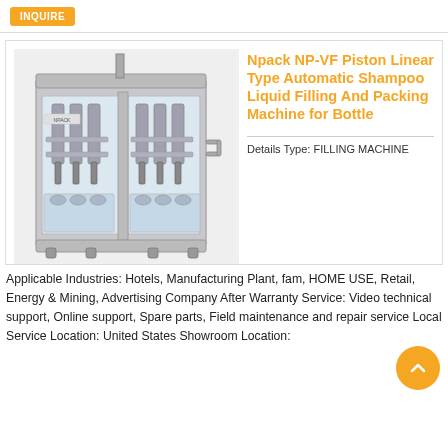INQUIRE
Npack NP-VF Piston Linear Type Automatic Shampoo Liquid Filling And Packing Machine for Bottle
[Figure (photo): Industrial piston linear filling machine with stainless steel frame, multiple filling heads, and glass front panel showing filling mechanisms inside.]
Details Type: FILLING MACHINE
Applicable Industries: Hotels, Manufacturing Plant, farm, HOME USE, Retail, Energy & Mining, Advertising Company
After Warranty Service: Video technical support, Online support, Spare parts, Field maintenance and repair service
Local Service Location: United States Showroom Location: